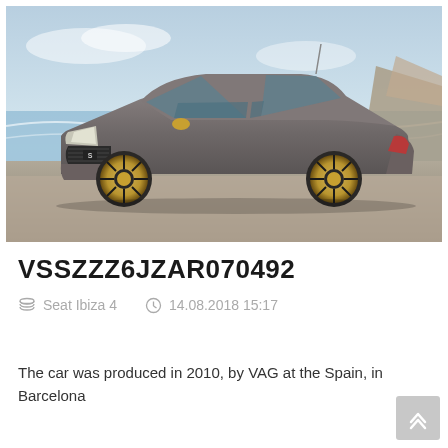[Figure (photo): Gray SEAT Ibiza 4 hatchback parked on a beach/coastal road with sea and rocky cliff in background. License plate reads 8728 JF J. Gold/bronze alloy wheels.]
VSSZZZ6JZAR070492
Seat Ibiza 4    14.08.2018 15:17
The car was produced in 2010, by VAG at the Spain, in Barcelona